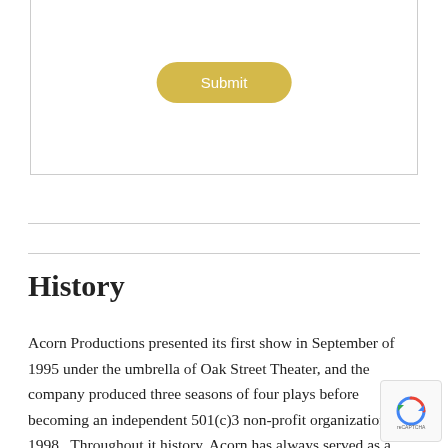[Figure (screenshot): Form box with a Submit button rendered in gold/yellow color with rounded corners]
History
Acorn Productions presented its first show in September of 1995 under the umbrella of Oak Street Theater, and the company produced three seasons of four plays before becoming an independent 501(c)3 non-profit organization in 1998.  Throughout it history, Acorn has always served as a creative catalyst in the community, introducing scores of actors to life on stage, training dozens of actors to work